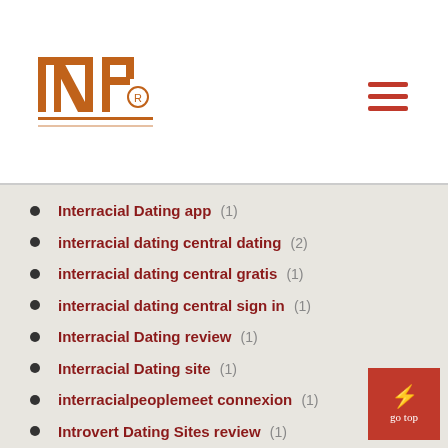INP logo and navigation menu
Interracial Dating app (1)
interracial dating central dating (2)
interracial dating central gratis (1)
interracial dating central sign in (1)
Interracial Dating review (1)
Interracial Dating site (1)
interracialpeoplemeet connexion (1)
Introvert Dating Sites review (1)
Introvert Dating Sites service (1)
Introvert Dating Sites sites (1)
introvertni-randeni Seznamka (1)